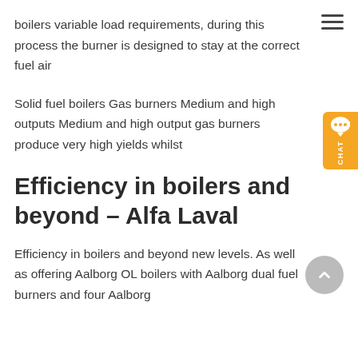boilers variable load requirements, during this process the burner is designed to stay at the correct fuel air
Solid fuel boilers Gas burners Medium and high outputs Medium and high output gas burners produce very high yields whilst
Efficiency in boilers and beyond – Alfa Laval
Efficiency in boilers and beyond new levels. As well as offering Aalborg OL boilers with Aalborg dual fuel burners and four Aalborg